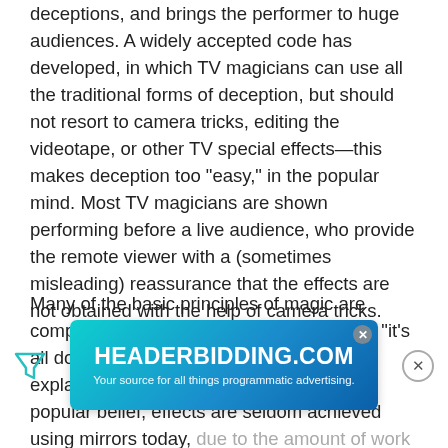deceptions, and brings the performer to huge audiences. A widely accepted code has developed, in which TV magicians can use all the traditional forms of deception, but should not resort to camera tricks, editing the videotape, or other TV special effects—this makes deception too "easy," in the popular mind. Most TV magicians are shown performing before a live audience, who provide the remote viewer with a (sometimes misleading) reassurance that the effects are not obtained with the help of camera tricks.
Many of the basic principles of magic are comparatively old. There is an expression, "it's all done with smoke and mirrors," used to explain something baffling, but contrary to popular belief, effects are seldom achieved using mirrors today, due to the amount of work needed to install it and difficulty... Pepper's Ghost, ... London, required a specially built theatre. Harry Houdini led the field of conjuring...